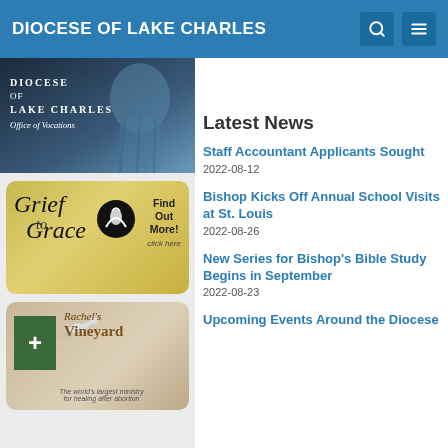DIOCESE OF LAKE CHARLES
[Figure (photo): Diocese of Lake Charles Office of Vocations banner image with a religious statue]
Latest News
[Figure (photo): Grief to Grace advertisement - Find Out More! click here]
Staff Accountant Applicants Sought
2022-08-12
Bishop Kicks Off Annual School Visits at St. Louis
2022-08-26
[Figure (photo): Rachel's Vineyard - The world's largest ministry for healing after abortion]
New Series for Bishop's Bible Study Begins in September
2022-08-23
Upcoming Events Around the Diocese